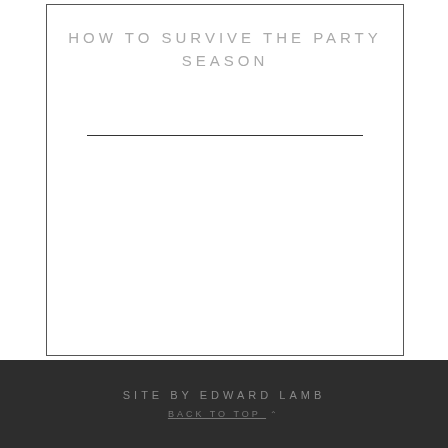HOW TO SURVIVE THE PARTY SEASON
SITE BY EDWARD LAMB
BACK TO TOP